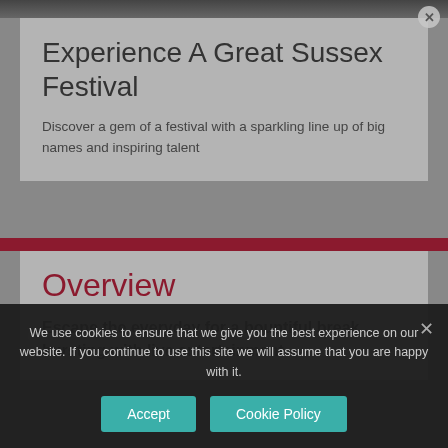Experience A Great Sussex Festival
Discover a gem of a festival with a sparkling line up of big names and inspiring talent
Overview
Escape the everyday for a bountiful break bursting with live entertainment.
We use cookies to ensure that we give you the best experience on our website. If you continue to use this site we will assume that you are happy with it.